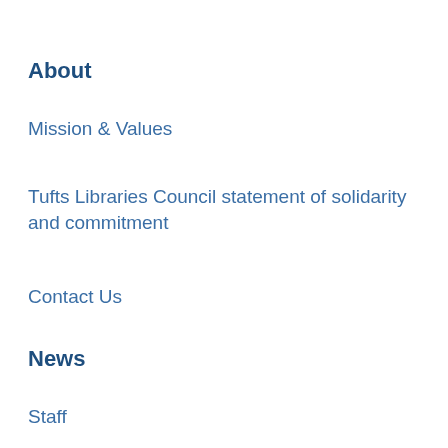About
Mission & Values
Tufts Libraries Council statement of solidarity and commitment
Contact Us
News
Staff
Research and Projects
Policies